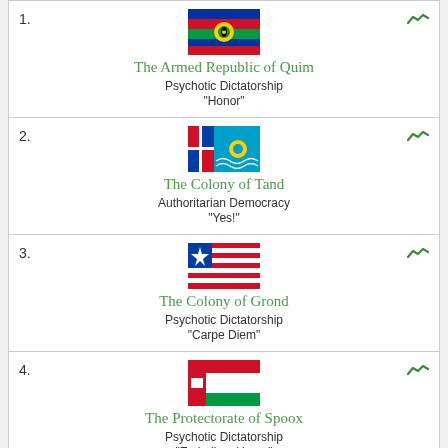1. The Armed Republic of Quim — Psychotic Dictatorship — "Honor"
2. The Colony of Tand — Authoritarian Democracy — "Yes!"
3. The Colony of Grond — Psychotic Dictatorship — "Carpe Diem"
4. The Protectorate of Spoox — Psychotic Dictatorship — "E pluribus Unum"
5. The Dominion of Qados